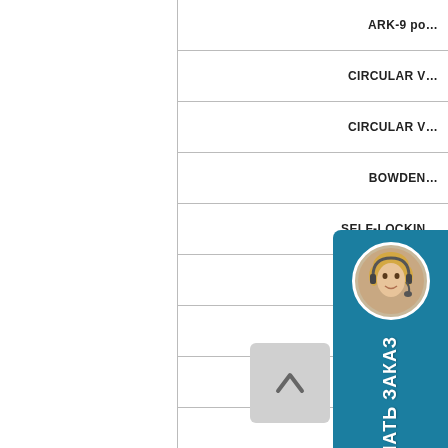| ARK-9 po… |
| CIRCULAR … |
| CIRCULAR … |
| BOWDEN… |
| SELF-LOCKIN… |
| SPLIT … |
|  |
|  |
|  |
|  |
| CONTRO… |  |
|  |
|  |
|  |
|  |
| CLOSU… |
| RETAININ… |
[Figure (illustration): Teal customer service card with woman headset avatar and Russian text 'СДЕЛАТЬ ЗАКАЗ' (Make an order), shown as a vertical sidebar overlay on the right side of the table.]
[Figure (illustration): Gray back-to-top button with upward chevron arrow, overlaid at bottom right of the table area.]